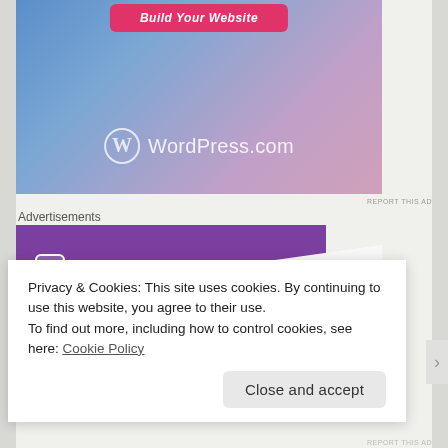[Figure (screenshot): WordPress.com advertisement banner with gradient blue-to-pink background, 'Build Your Website' button in pink/red, and WordPress.com logo with circle W icon in white.]
REPORT THIS AD
Advertisements
[Figure (screenshot): WooCommerce advertisement banner with purple background, white WooCommerce logo text, teal/green triangle accent, and white angled card element.]
Privacy & Cookies: This site uses cookies. By continuing to use this website, you agree to their use.
To find out more, including how to control cookies, see here: Cookie Policy
Close and accept
REPORT THIS AD